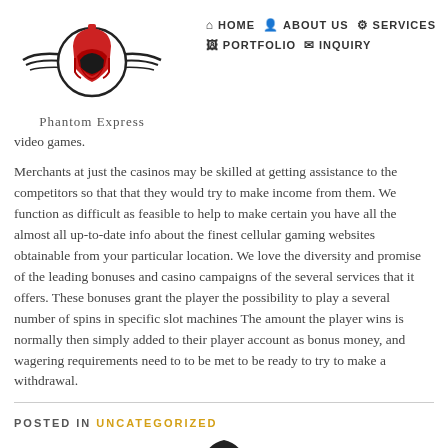[Figure (logo): Phantom Express logo with red spartan helmet and wing-like swooshes, with cursive text 'Phantom Express' below]
HOME  ABOUT US  SERVICES  PORTFOLIO  INQUIRY
video games.
Merchants at just the casinos may be skilled at getting assistance to the competitors so that that they would try to make income from them. We function as difficult as feasible to help to make certain you have all the almost all up-to-date info about the finest cellular gaming websites obtainable from your particular location. We love the diversity and promise of the leading bonuses and casino campaigns of the several services that it offers. These bonuses grant the player the possibility to play a several number of spins in specific slot machines The amount the player wins is normally then simply added to their player account as bonus money, and wagering requirements need to to be met to be ready to try to make a withdrawal.
POSTED IN UNCATEGORIZED
[Figure (illustration): Partial black helmet icon at bottom center of page]